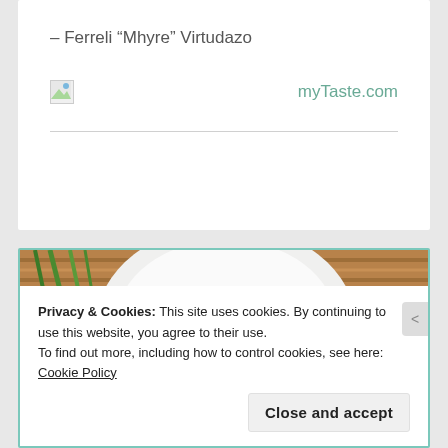– Ferreli “Mhyre” Virtudazo
[Figure (other): Broken image placeholder icon (small thumbnail)]
myTaste.com
[Figure (photo): Partial food photo showing a white plate with purple food item, green herbs/scallions, on a woven mat background]
Privacy & Cookies: This site uses cookies. By continuing to use this website, you agree to their use.
To find out more, including how to control cookies, see here: Cookie Policy
Close and accept